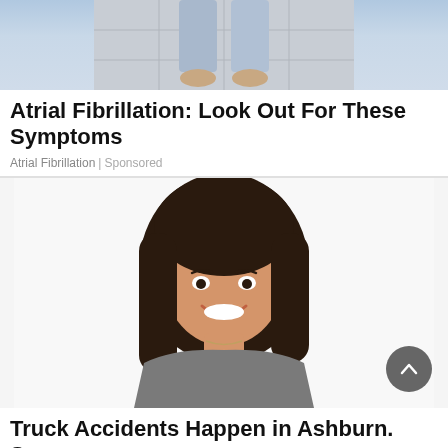[Figure (photo): Partial view of a person's lower body in jeans and sandals on a paved outdoor surface]
Atrial Fibrillation: Look Out For These Symptoms
Atrial Fibrillation | Sponsored
[Figure (photo): Smiling young woman with long dark hair wearing a grey shirt, photographed against a white background]
Truck Accidents Happen in Ashburn. See